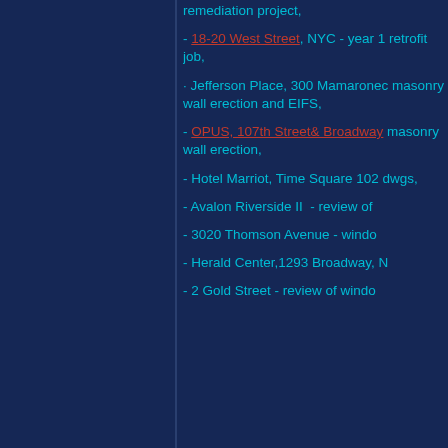remediation project,
- 18-20 West Street, NYC - year 1 retrofit job,
· Jefferson Place, 300 Mamaroneck masonry wall erection and EIFS,
- OPUS, 107th Street& Broadway masonry wall erection,
- Hotel Marriot, Time Square 102 dwgs,
- Avalon Riverside II  - review of
- 3020 Thomson Avenue - window
- Herald Center,1293 Broadway, N
- 2 Gold Street - review of window